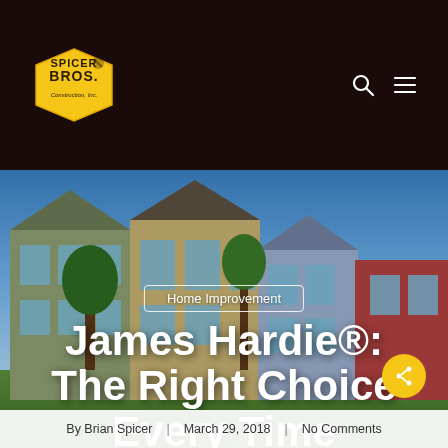Spicer Bros. Construction, Inc. — navigation header
[Figure (photo): Exterior photo of modern residential buildings with large windows, fiber cement siding, trees and blue sky in background. Hero image for blog post.]
Home Improvement
James Hardie®: The Right Choice Every Time
By Brian Spicer | March 29, 2018 | No Comments